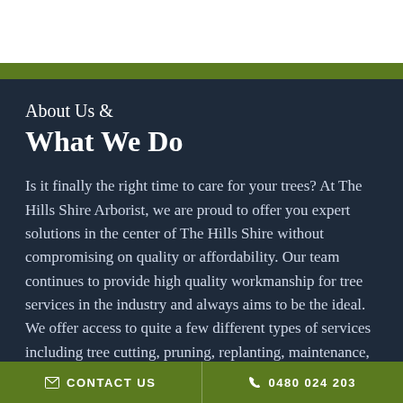About Us &
What We Do
Is it finally the right time to care for your trees? At The Hills Shire Arborist, we are proud to offer you expert solutions in the center of The Hills Shire without compromising on quality or affordability. Our team continues to provide high quality workmanship for tree services in the industry and always aims to be the ideal. We offer access to quite a few different types of services including tree cutting, pruning, replanting, maintenance, and/or tree trimming.
✉ CONTACT US   ☎ 0480 024 203